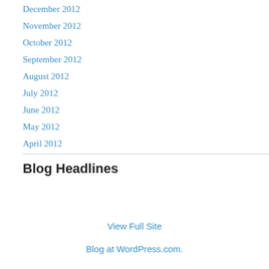December 2012
November 2012
October 2012
September 2012
August 2012
July 2012
June 2012
May 2012
April 2012
Blog Headlines
View Full Site
Blog at WordPress.com.